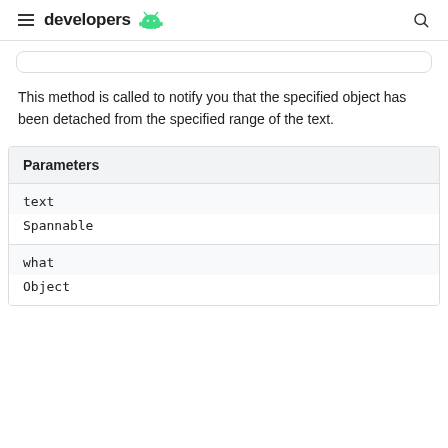developers
This method is called to notify you that the specified object has been detached from the specified range of the text.
| Parameters |
| --- |
| text | Spannable |
| what | Object |